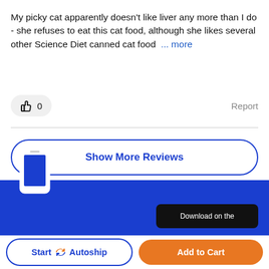My picky cat apparently doesn't like liver any more than I do - she refuses to eat this cat food, although she likes several other Science Diet canned cat food ... more
0
Report
Show More Reviews
↑ back to top
[Figure (illustration): Blue footer banner with phone icon on left and a dark download app button on right showing 'Download on the']
Start Autoship
Add to Cart